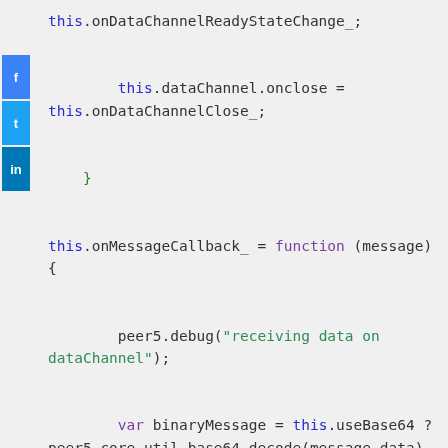[Figure (screenshot): Social media share buttons sidebar (Facebook, Twitter, LinkedIn) on the left side of the page]
this.onDataChannelReadyStateChange_;

        this.dataChannel.onclose =
this.onDataChannelClose_;

    }


this.onMessageCallback_ = function (message) {


        peer5.debug("receiving data on dataChannel");


        var binaryMessage = this.useBase64 ?
peer5.core.util.base64.decode(message.data) : new
Uint8Array(message.data);




radio('dataReceivedEvent').broadcast(binaryMessage,
thiS.targetId);